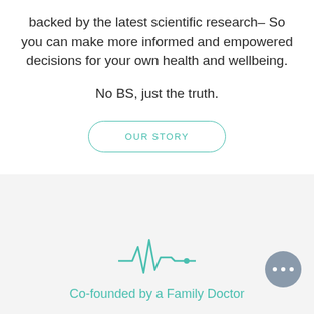backed by the latest scientific research– So you can make more informed and empowered decisions for your own health and wellbeing.
No BS, just the truth.
OUR STORY
[Figure (illustration): Heartbeat / EKG pulse line icon in teal color]
Co-founded by a Family Doctor